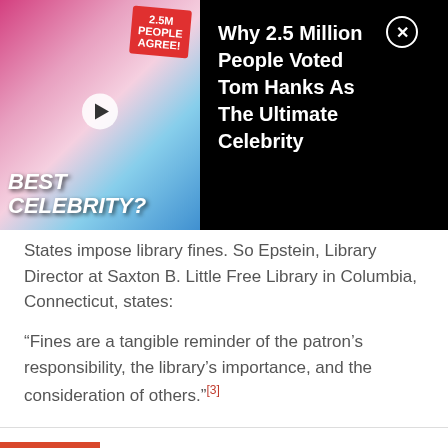[Figure (other): Advertisement overlay showing two celebrities with text '2.5M PEOPLE AGREE!' and headline 'Why 2.5 Million People Voted Tom Hanks As The Ultimate Celebrity' with a close button]
States impose library fines. So Epstein, Library Director at Saxton B. Little Free Library in Columbia, Connecticut, states:
“Fines are a tangible reminder of the patron’s responsibility, the library’s importance, and the consideration of others.”[3]
7  Bibliosmia
[Figure (photo): Partial bottom image strip, appears to show a light-colored radial pattern or flower-like image]